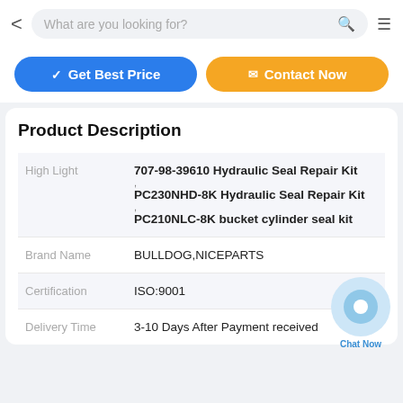What are you looking for?
[Figure (screenshot): Two call-to-action buttons: blue 'Get Best Price' and orange 'Contact Now']
Product Description
|  |  |
| --- | --- |
| High Light | 707-98-39610 Hydraulic Seal Repair Kit
PC230NHD-8K Hydraulic Seal Repair Kit
PC210NLC-8K bucket cylinder seal kit |
| Brand Name | BULLDOG,NICEPARTS |
| Certification | ISO:9001 |
| Delivery Time | 3-10 Days After Payment received |